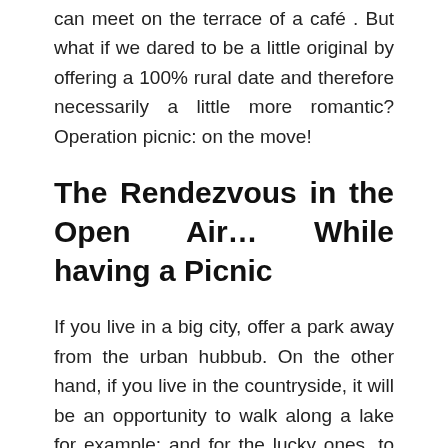can meet on the terrace of a café . But what if we dared to be a little original by offering a 100% rural date and therefore necessarily a little more romantic? Operation picnic: on the move!
The Rendezvous in the Open Air… While having a Picnic
If you live in a big city, offer a park away from the urban hubbub. On the other hand, if you live in the countryside, it will be an opportunity to walk along a lake for example; and for the lucky ones, to offer a picnic on the beach! In a natural and cozy setting, the conditions are implemented so that the SharekAlomre atmosphere is pleasant…